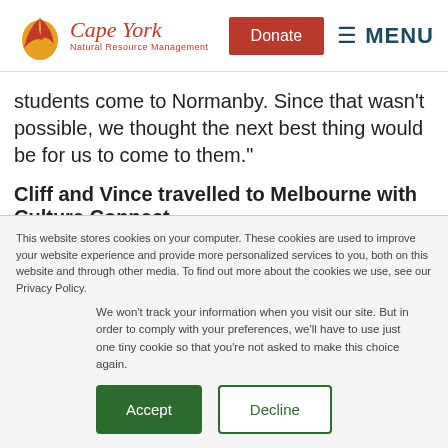Cape York Natural Resource Management — Donate — MENU
students come to Normanby. Since that wasn't possible, we thought the next best thing would be for us to come to them."
Cliff and Vince travelled to Melbourne with Culture Connect
This website stores cookies on your computer. These cookies are used to improve your website experience and provide more personalized services to you, both on this website and through other media. To find out more about the cookies we use, see our Privacy Policy.
We won't track your information when you visit our site. But in order to comply with your preferences, we'll have to use just one tiny cookie so that you're not asked to make this choice again.